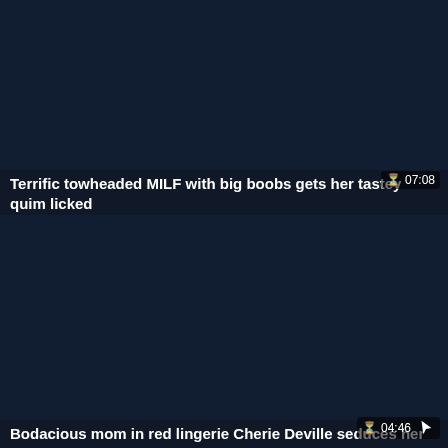[Figure (screenshot): Dark thumbnail area for first video card]
07:08
Terrific towheaded MILF with big boobs gets her tastey quim licked
[Figure (screenshot): Dark thumbnail area for second video card]
04:46
Bodacious mom in red lingerie Cherie Deville seduces her stepson